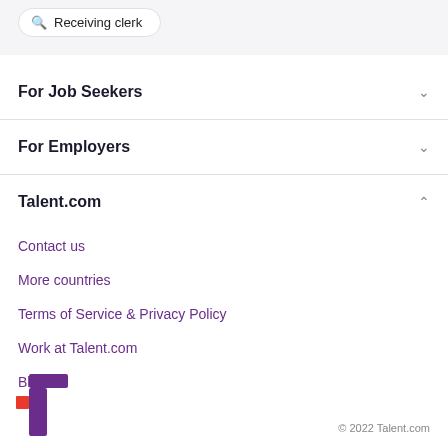[Figure (screenshot): Search bar pill with magnifier icon and text 'Receiving clerk' on grey background]
For Job Seekers
For Employers
Talent.com
Contact us
More countries
Terms of Service & Privacy Policy
Work at Talent.com
Blog
[Figure (logo): Talent.com logo — stylized purple 't' with red square dot]
© 2022 Talent.com